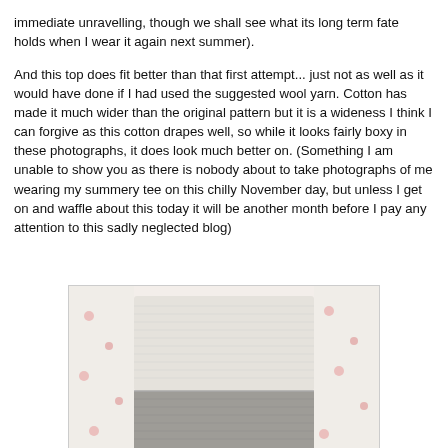immediate unravelling, though we shall see what its long term fate holds when I wear it again next summer).
And this top does fit better than that first attempt... just not as well as it would have done if I had used the suggested wool yarn. Cotton has made it much wider than the original pattern but it is a wideness I think I can forgive as this cotton drapes well, so while it looks fairly boxy in these photographs, it does look much better on. (Something I am unable to show you as there is nobody about to take photographs of me wearing my summery tee on this chilly November day, but unless I get on and waffle about this today it will be another month before I pay any attention to this sadly neglected blog)
[Figure (photo): Close-up photograph of a knitted top with white/cream lace-knit upper section and grey lower section, laid against a white floral fabric background with small pink flowers.]